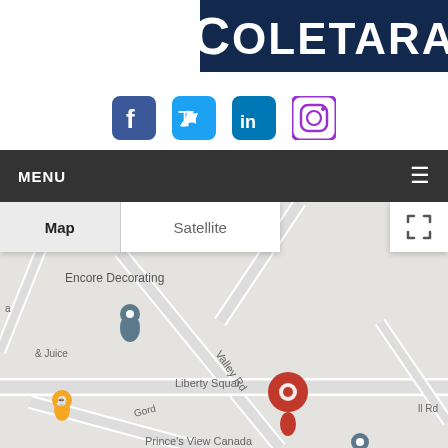[Figure (logo): Coletara company logo: white bold uppercase text on dark navy blue background]
[Figure (infographic): Social media icons row: Facebook (blue), Twitter (cyan), LinkedIn (dark blue), Instagram (purple)]
MENU
[Figure (screenshot): Google Maps embed showing Map/Satellite toggle, location pins for Encore Decorating, Liberty Square, and a red marker pin. Street labels: Valley Rd, Gord...]